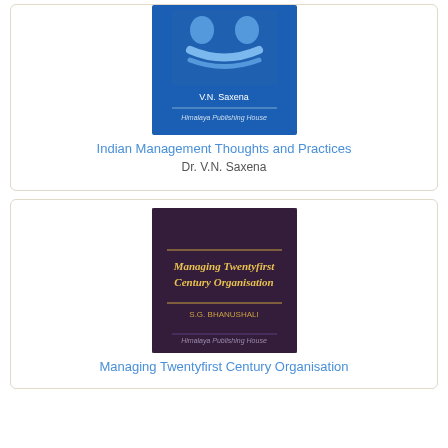[Figure (photo): Book cover of 'Indian Management Thoughts and Practices' by V.N. Saxena, published by Himalaya Publishing House. Blue cover with image of handshake.]
Indian Management Thoughts and Practices
Dr. V.N. Saxena
[Figure (photo): Book cover of 'Managing Twentyfirst Century Organisation' published by Himalaya Publishing House. Dark purple/maroon cover with gold title text.]
Managing Twentyfirst Century Organisation